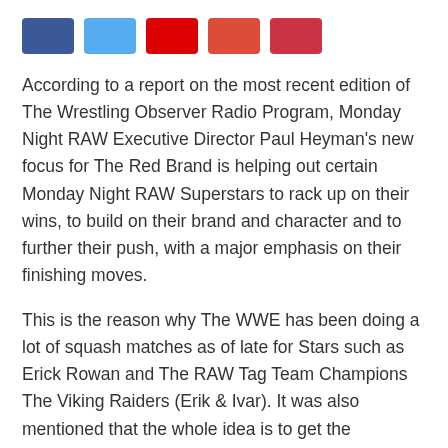[Figure (infographic): Row of five social sharing icon buttons: Facebook (dark blue), Twitter (light blue), Pinterest (red), Google+ (orange-red), Share (dark red-pink)]
According to a report on the most recent edition of The Wrestling Observer Radio Program, Monday Night RAW Executive Director Paul Heyman's new focus for The Red Brand is helping out certain Monday Night RAW Superstars to rack up on their wins, to build on their brand and character and to further their push, with a major emphasis on their finishing moves.
This is the reason why The WWE has been doing a lot of squash matches as of late for Stars such as Erick Rowan and The RAW Tag Team Champions The Viking Raiders (Erik & Ivar). It was also mentioned that the whole idea is to get the Superstars' finishing moves over and to get them wins.
Erick Rowan has been squashing enhancement talents with his Iron Claw finisher, while also protecting whatever mystery pet or creature he has in his cage and The Viking Raiders have been squashing jobbers every...